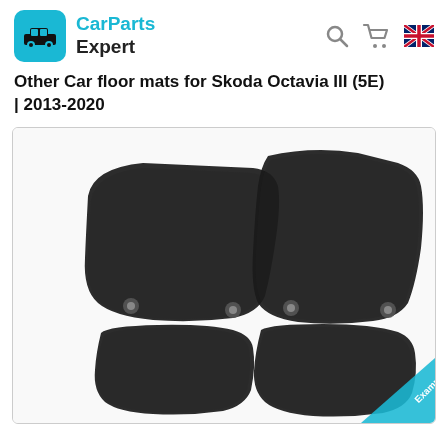CarParts Expert
Other Car floor mats for Skoda Octavia III (5E) | 2013-2020
[Figure (photo): Four black car floor mats for Skoda Octavia III (5E) 2013-2020, shown on white background. Two larger front mats on top with mounting clips, two smaller rear mats on bottom. Example watermark badge in bottom-right corner.]